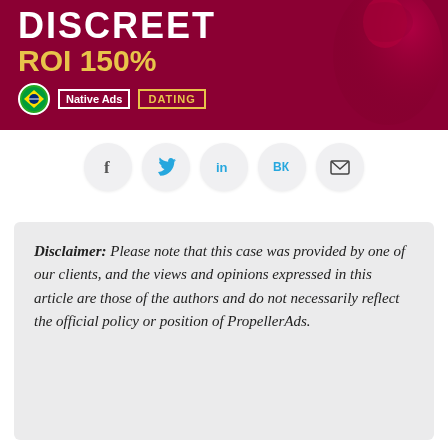[Figure (illustration): Dark red/crimson banner with white bold text 'DISCREET' and yellow 'ROI 150%', Brazilian flag circle, 'Native Ads' white-bordered tag, 'DATING' gold-bordered tag, and a woman's silhouette on the right]
[Figure (infographic): Row of 5 social share buttons in light gray circles: Facebook (f), Twitter bird, LinkedIn (in), VKontakte (VK), Email envelope]
Disclaimer: Please note that this case was provided by one of our clients, and the views and opinions expressed in this article are those of the authors and do not necessarily reflect the official policy or position of PropellerAds.